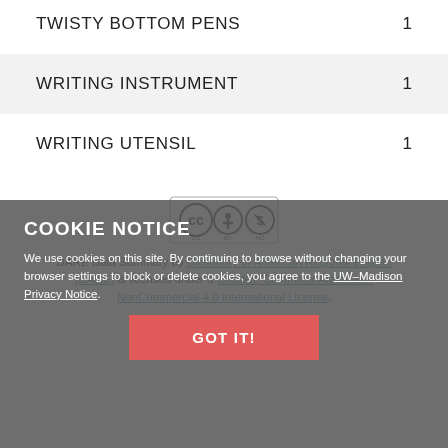TWISTY BOTTOM PENS    1
WRITING INSTRUMENT    1
WRITING UTENSIL    1
[Figure (logo): Creative Commons BY-NC license badge]
DARE Data Summary by Dictionary of American Regional English (DARE) is licensed under a Creative Commons Attribution-NonCommercial 4.0 International License.
COOKIE NOTICE
We use cookies on this site. By continuing to browse without changing your browser settings to block or delete cookies, you agree to the UW–Madison Privacy Notice.
GOT IT!